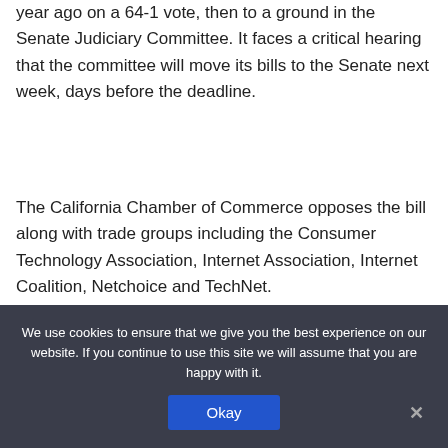year ago on a 64-1 vote, then to a ground in the Senate Judiciary Committee. It faces a critical hearing that the committee will move its bills to the Senate next week, days before the deadline.
The California Chamber of Commerce opposes the bill along with trade groups including the Consumer Technology Association, Internet Association, Internet Coalition, Netchoice and TechNet.
The bill requires such complete disclosure that it would provide “bad actors with roadmaps to get around our protections,” a coalition of opponents told lawmakers. A
We use cookies to ensure that we give you the best experience on our website. If you continue to use this site we will assume that you are happy with it.
Okay